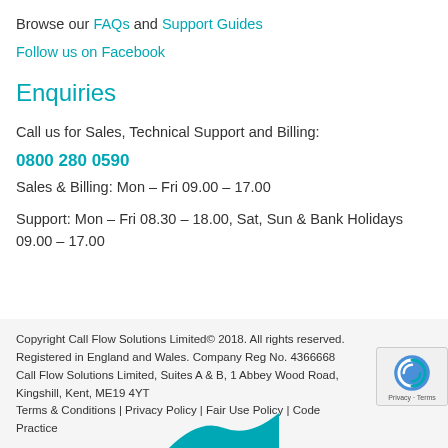Browse our FAQs and Support Guides
Follow us on Facebook
Enquiries
Call us for Sales, Technical Support and Billing:
0800 280 0590
Sales & Billing: Mon – Fri 09.00 – 17.00
Support: Mon – Fri 08.30 – 18.00, Sat, Sun & Bank Holidays 09.00 – 17.00
Copyright Call Flow Solutions Limited© 2018. All rights reserved. Registered in England and Wales. Company Reg No. 4366668 Call Flow Solutions Limited, Suites A & B, 1 Abbey Wood Road, Kingshill, Kent, ME19 4YT Terms & Conditions | Privacy Policy | Fair Use Policy | Code Practice